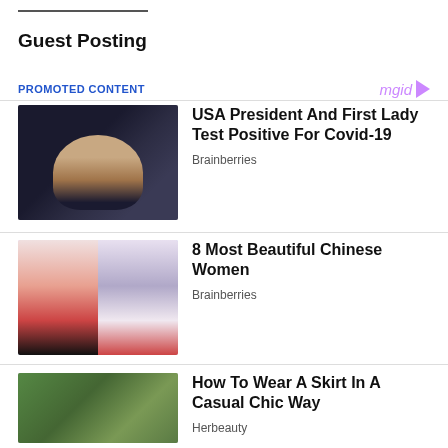Guest Posting
PROMOTED CONTENT
[Figure (other): Mgid logo with colored letters and triangle arrow]
[Figure (photo): Photo of USA President gesturing]
USA President And First Lady Test Positive For Covid-19
Brainberries
[Figure (photo): Two Chinese women posing]
8 Most Beautiful Chinese Women
Brainberries
[Figure (photo): Woman lying on grass wearing skirt]
How To Wear A Skirt In A Casual Chic Way
Herbeauty